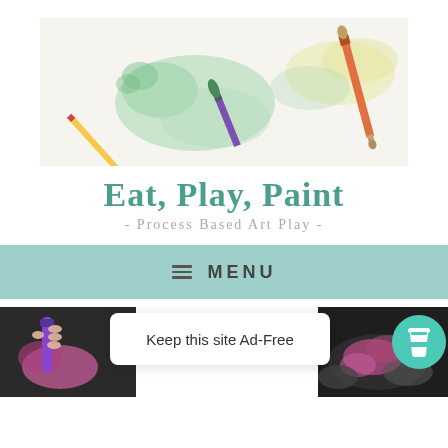[Figure (photo): Watercolor painting supplies on white paper with green paint splotches and two paintbrushes (one with purple handle, one orange)]
Eat, Play, Paint
- Process Based Art Play -
≡ MENU
Keep this site Ad-Free
[Figure (photo): Child holding purple crayon/marker on dark surface at bottom left]
[Figure (photo): Pink/purple abstract marks on dark background at bottom right]